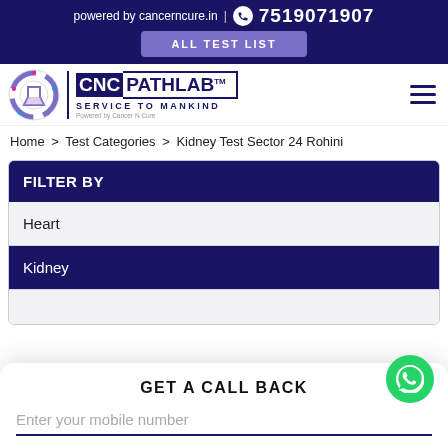powered by cancerncure.in | 7519071907
ALL TEST LIST
[Figure (logo): CNC Pathlab logo with circular emblem and text SERVICE TO MANKIND, Powered by Cancer N Cure]
Home > Test Categories > Kidney Test Sector 24 Rohini
FILTER BY
Heart
Kidney
GET A CALL BACK
Enter your mobile number